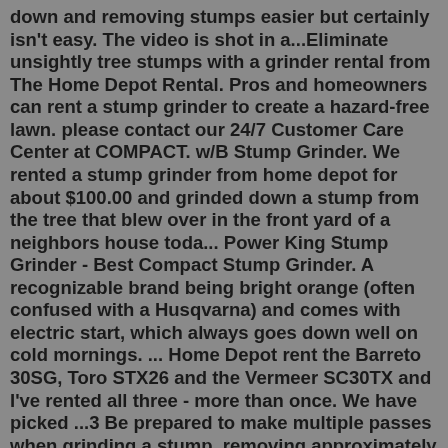down and removing stumps easier but certainly isn't easy. The video is shot in a...Eliminate unsightly tree stumps with a grinder rental from The Home Depot Rental. Pros and homeowners can rent a stump grinder to create a hazard-free lawn. please contact our 24/7 Customer Care Center at COMPACT. w/B Stump Grinder. We rented a stump grinder from home depot for about $100.00 and grinded down a stump from the tree that blew over in the front yard of a neighbors house toda... Power King Stump Grinder - Best Compact Stump Grinder. A recognizable brand being bright orange (often confused with a Husqvarna) and comes with electric start, which always goes down well on cold mornings. ... Home Depot rent the Barreto 30SG, Toro STX26 and the Vermeer SC30TX and I've rented all three - more than once. We have picked ...3 Be prepared to make multiple passes when grinding a stump, removing approximately ½" of the stump with each pass. 4 Use a funnel when refueling the drive unit. Add more fuel to refuel the engine at Depo t...